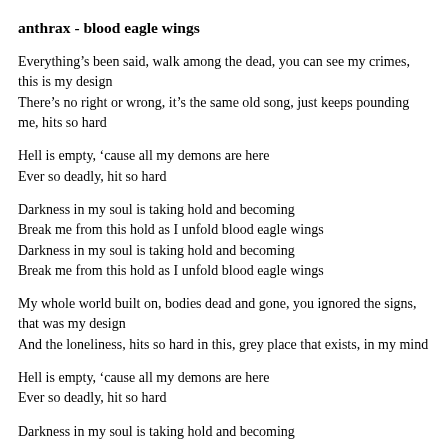anthrax - blood eagle wings
Everything’s been said, walk among the dead, you can see my crimes, this is my design
There’s no right or wrong, it’s the same old song, just keeps pounding me, hits so hard
Hell is empty, ‘cause all my demons are here
Ever so deadly, hit so hard
Darkness in my soul is taking hold and becoming
Break me from this hold as I unfold blood eagle wings
Darkness in my soul is taking hold and becoming
Break me from this hold as I unfold blood eagle wings
My whole world built on, bodies dead and gone, you ignored the signs, that was my design
And the loneliness, hits so hard in this, grey place that exists, in my mind
Hell is empty, ‘cause all my demons are here
Ever so deadly, hit so hard
Darkness in my soul is taking hold and becoming